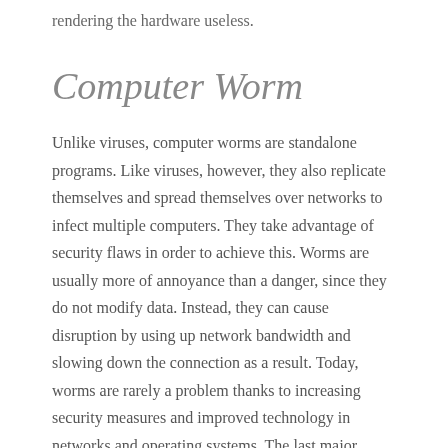rendering the hardware useless.
Computer Worm
Unlike viruses, computer worms are standalone programs. Like viruses, however, they also replicate themselves and spread themselves over networks to infect multiple computers. They take advantage of security flaws in order to achieve this. Worms are usually more of annoyance than a danger, since they do not modify data. Instead, they can cause disruption by using up network bandwidth and slowing down the connection as a result. Today, worms are rarely a problem thanks to increasing security measures and improved technology in networks and operating systems. The last major disruption caused by a computer worm was in 2008 when the Conficker worm infected millions of computers